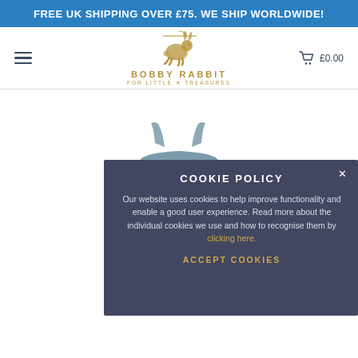FREE UK SHIPPING OVER £75. WE SHIP WORLDWIDE!
[Figure (logo): Bobby Rabbit logo — running rabbit silhouette above text 'BOBBY RABBIT FOR LITTLE X TREASURES']
[Figure (photo): A blue-grey ruched children's dress/top with printed rabbit pattern and two shoulder straps]
COOKIE POLICY
Our website uses cookies to help improve functionality and enable a good user experience. Read more about the individual cookies we use and how to recognise them by clicking here.
ACCEPT COOKIES